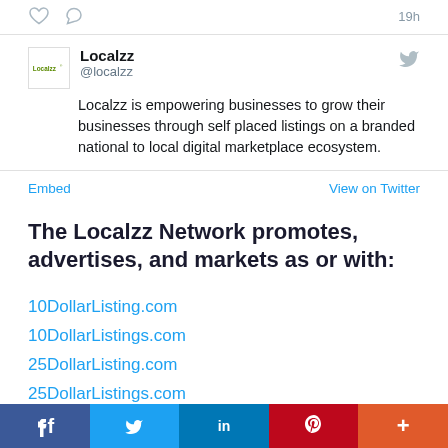[Figure (screenshot): Top bar with heart and reply icons and timestamp '19h']
Localzz @localzz — Localzz is empowering businesses to grow their businesses through self placed listings on a branded national to local digital marketplace ecosystem.
Embed   View on Twitter
The Localzz Network promotes, advertises, and markets as or with:
10DollarListing.com
10DollarListings.com
25DollarListing.com
25DollarListings.com
[Figure (infographic): Social share bar at bottom with Facebook, Twitter, LinkedIn, Pinterest, and More buttons]